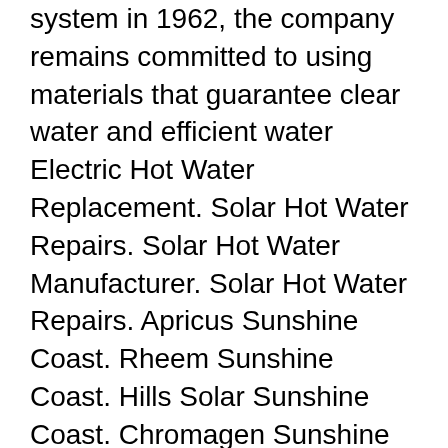system in 1962, the company remains committed to using materials that guarantee clear water and efficient water Electric Hot Water Replacement. Solar Hot Water Repairs. Solar Hot Water Manufacturer. Solar Hot Water Repairs. Apricus Sunshine Coast. Rheem Sunshine Coast. Hills Solar Sunshine Coast. Chromagen Sunshine Coast. Dux Sunshine Coast. Aestiva Sunshine Coast. No solar gain Sunshine Coast. AAE Sunshine Coast. Conergy Solar Sunshine Coast. Thermann
Electric Hot Water Replacement. Solar Hot Water Repairs. Solar Hot Water Manufacturer. Solar Hot Water Repairs. Apricus Sunshine Coast. Rh...